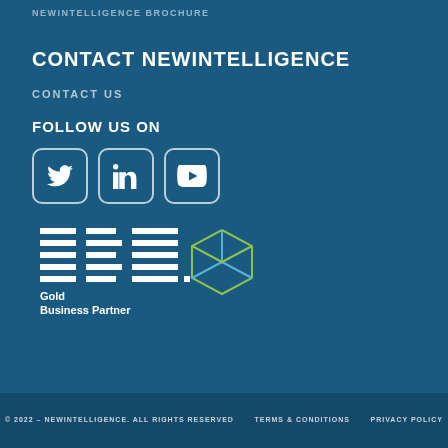NEWINTELLIGENCE BROCHURE
CONTACT NEWINTELLIGENCE
CONTACT US
FOLLOW US ON
[Figure (logo): Social media icons: Twitter, LinkedIn, YouTube in rounded square outlines]
[Figure (logo): IBM Gold Business Partner logo with geometric cube illustration]
© 2022 – NEWINTELLIGENCE. ALL RIGHTS RESERVED     TERMS & CONDITIONS     PRIVACY POLICY